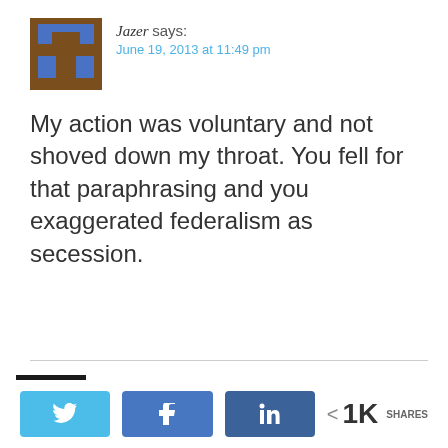[Figure (illustration): Pixel art avatar for user Jazer — brown and blue blocky icon]
Jazer says:
June 19, 2013 at 11:49 pm
My action was voluntary and not shoved down my throat. You fell for that paraphrasing and you exaggerated federalism as secession.
[Figure (photo): Black and white photo avatar for user benign0]
benign0 says:
June 19, 2013 at 10:16 am
Privacy & Cookies: This site uses cookies. By continuing to use this website, you agree to their use.
To find out more, including how to control cookies, see here: Cookie Policy
< 1K SHARES